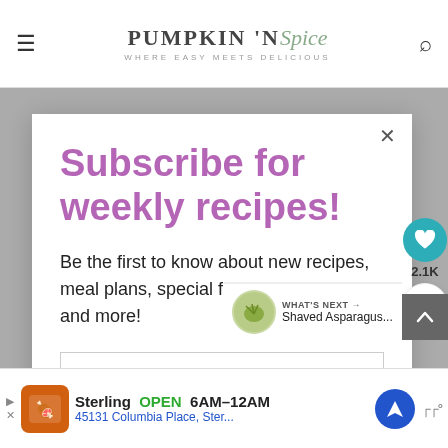PUMPKIN 'N Spice — WHERE EASY MEETS DELICIOUS
Subscribe for weekly recipes!
Be the first to know about new recipes, meal plans, special freebies for insiders, and more!
Email address
Subscribe
2.1K
WHAT'S NEXT → Shaved Asparagus...
Sterling OPEN 6AM–12AM 45131 Columbia Place, Ster...